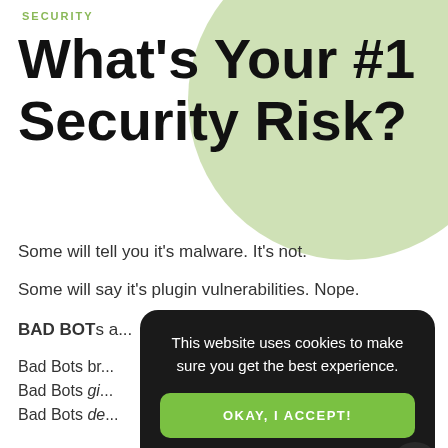SECURITY
What's Your #1 Security Risk?
Some will tell you it's malware. It's not.
Some will say it's plugin vulnerabilities. Nope.
BAD BOTs are...
Bad Bots br...
Bad Bots gi...
Bad Bots de... them.
Shield Block... Bad Bot Protection
[Figure (screenshot): Cookie consent modal overlay with dark background, text 'This website uses cookies to make sure you get the best experience.', a green 'OKAY, I ACCEPT!' button, and a 'Cookie Policy' link.]